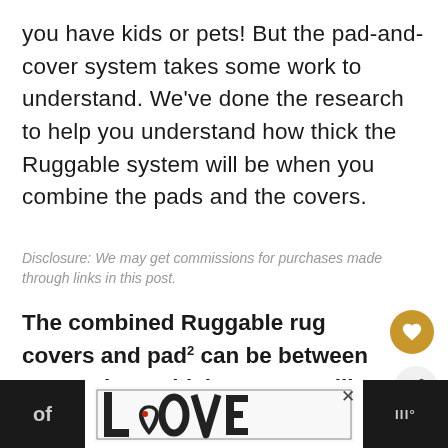you have kids or pets!  But the pad-and-cover system takes some work to understand.  We've done the research to help you understand how thick the Ruggable system will be when you combine the pads and the covers.
Disclosure: We may get commissions for purchases made through links in this post.
The combined Ruggable rug covers and pad can be between 0.3" and 1.6" thick.  Most ru will be 0.3" thick.  The thickness will depend on the type of cover and pad.  Ruggable sells three types of rug covers and two thicknesses of
[Figure (other): Advertisement banner at the bottom with LOVE logo art in center, close button, dark panels on left and right]